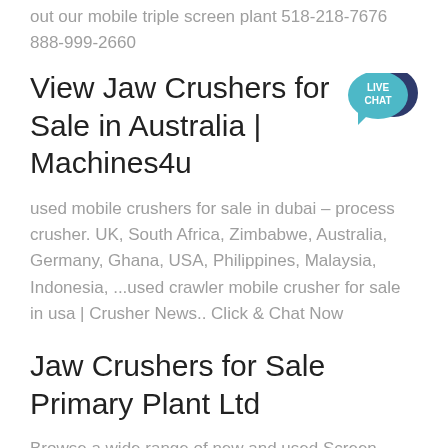out our mobile triple screen plant 518-218-7676 888-999-2660
View Jaw Crushers for Sale in Australia | Machines4u
used mobile crushers for sale in dubai – process crusher. UK, South Africa, Zimbabwe, Australia, Germany, Ghana, USA, Philippines, Malaysia, Indonesia, ...used crawler mobile crusher for sale in usa | Crusher News.. Click & Chat Now
Jaw Crushers for Sale Primary Plant Ltd
Browse a wide range of new and used Screen Aggregate Equipment For Sale within UK. Plant